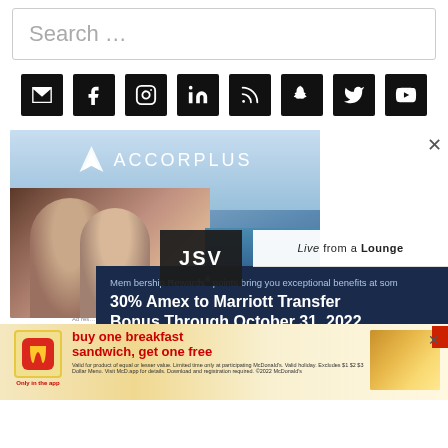Search …
[Figure (infographic): Row of 8 social media icon buttons (email, Facebook, Instagram, LinkedIn, RSS, Snapchat, Twitter, YouTube) on black square backgrounds]
[Figure (photo): AccorPlus advertisement showing a couple smiling with a pool in background and the AccorPlus logo]
[Figure (screenshot): JSV overlay badge and Live from a Lounge branding overlay on top of ads]
[Figure (infographic): Dark blue panel ad: 'Membership Rewards® points bring you exceptional benefits at some... 30% Amex to Marriott Transfer Bonus Through October 31, 2022' with Read More button]
[Figure (infographic): McDonald's app advertisement: 'buy one breakfast sandwich, get one free' with fine print, Only in the app label, and food image]